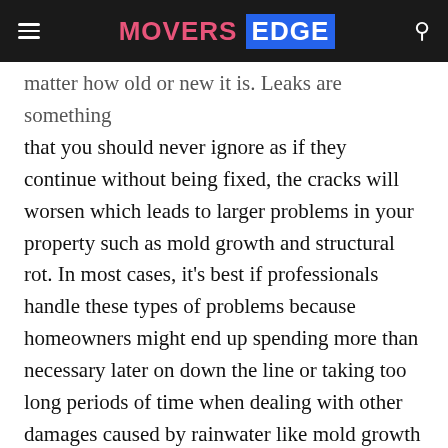MOVERS EDGE
matter how old or new it is. Leaks are something that you should never ignore as if they continue without being fixed, the cracks will worsen which leads to larger problems in your property such as mold growth and structural rot. In most cases, it’s best if professionals handle these types of problems because homeowners might end up spending more than necessary later on down the line or taking too long periods of time when dealing with other damages caused by rainwater like mold growth and even structural rot. For example, someone could have their roof repaired for $800 but then spend an additional $500 on replacing drywall after water damage made its way